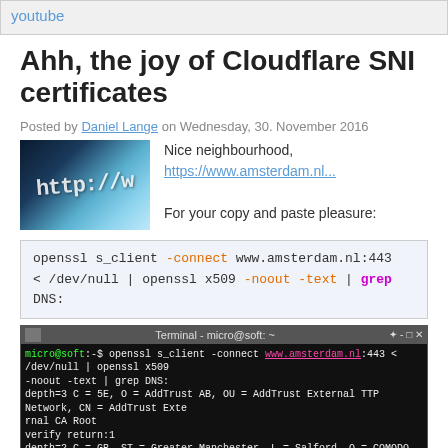youtube
Ahh, the joy of Cloudflare SNI certificates
Posted by Daniel Lange on Wednesday, 30. November 2016
[Figure (photo): Image of an http:// sign with blue lighting]
Nice neighbourhood, https://www.amsterdam.nl...

For your copy and paste pleasure:
openssl s_client -connect www.amsterdam.nl:443 < /dev/null | openssl x509 -noout -text | grep DNS:
[Figure (screenshot): Terminal window showing micro@soft running openssl s_client command with output showing certificate depth and CA authority information]